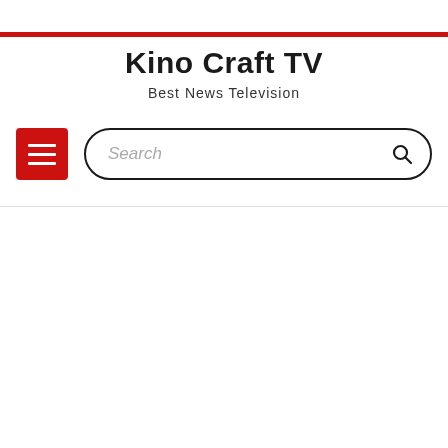Kino Craft TV — Best News Television
Kino Craft TV
Best News Television
[Figure (screenshot): Navigation bar with red hamburger menu button and search input box with search icon]